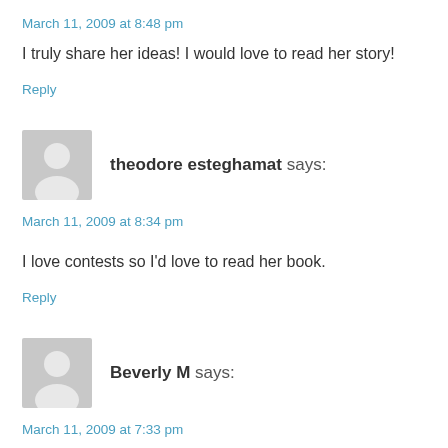March 11, 2009 at 8:48 pm
I truly share her ideas! I would love to read her story!
Reply
[Figure (illustration): Generic user avatar placeholder image for theodore esteghamat]
theodore esteghamat says:
March 11, 2009 at 8:34 pm
I love contests so I'd love to read her book.
Reply
[Figure (illustration): Generic user avatar placeholder image for Beverly M]
Beverly M says:
March 11, 2009 at 7:33 pm